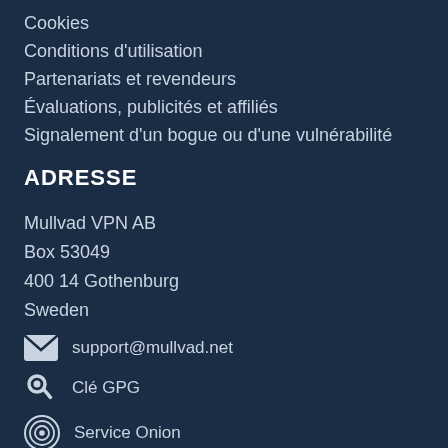Cookies
Conditions d'utilisation
Partenariats et revendeurs
Évaluations, publicités et affiliés
Signalement d'un bogue ou d'une vulnérabilité
ADRESSE
Mullvad VPN AB
Box 53049
400 14 Gothenburg
Sweden
support@mullvad.net
Clé GPG
Service Onion
SUIVEZ-NOUS